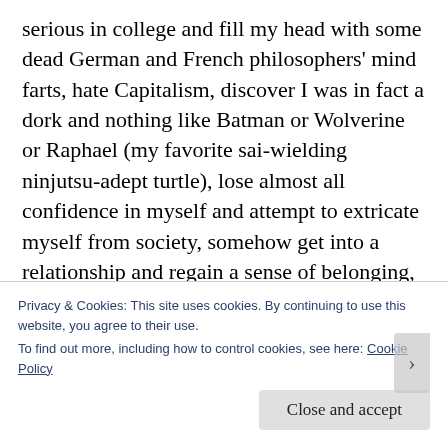serious in college and fill my head with some dead German and French philosophers' mind farts, hate Capitalism, discover I was in fact a dork and nothing like Batman or Wolverine or Raphael (my favorite sai-wielding ninjutsu-adept turtle), lose almost all confidence in myself and attempt to extricate myself from society, somehow get into a relationship and regain a sense of belonging, love Capitalism then witness more than five retrenchments as a transcriptionist, then a writer, then a social media marketing expert or whatever they want to call that profession, which only became possible because a guy named Mark Zuckerberg was even more of a
Privacy & Cookies: This site uses cookies. By continuing to use this website, you agree to their use.
To find out more, including how to control cookies, see here: Cookie Policy
Close and accept